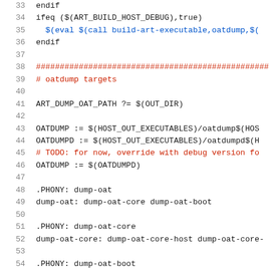33  endif
34  ifeq ($(ART_BUILD_HOST_DEBUG),true)
35    $(eval $(call build-art-executable,oatdump,$(…
36  endif
37
38  ################################################…
39  # oatdump targets
40
41  ART_DUMP_OAT_PATH ?= $(OUT_DIR)
42
43  OATDUMP := $(HOST_OUT_EXECUTABLES)/oatdump$(HOS…
44  OATDUMPD := $(HOST_OUT_EXECUTABLES)/oatdumpd$(H…
45  # TODO: for now, override with debug version fo…
46  OATDUMP := $(OATDUMPD)
47
48  .PHONY: dump-oat
49  dump-oat: dump-oat-core dump-oat-boot
50
51  .PHONY: dump-oat-core
52  dump-oat-core: dump-oat-core-host dump-oat-core-…
53
54  .PHONY: dump-oat-boot…